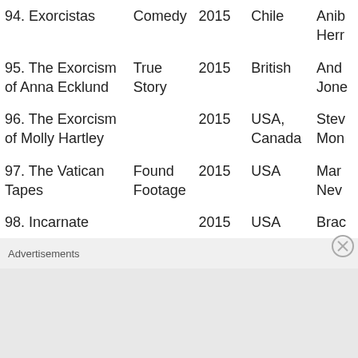| Title | Genre | Year | Country | Director |
| --- | --- | --- | --- | --- |
| 94. Exorcistas | Comedy | 2015 | Chile | Anib Herr… |
| 95. The Exorcism of Anna Ecklund | True Story | 2015 | British | And… Jone… |
| 96. The Exorcism of Molly Hartley |  | 2015 | USA, Canada | Stev… Mon… |
| 97. The Vatican Tapes | Found Footage | 2015 | USA | Mar… Nev… |
| 98. Incarnate |  | 2015 | USA | Brac… |
Advertisements